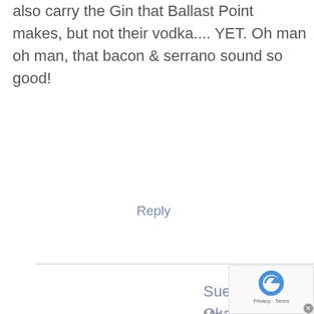also carry the Gin that Ballast Point makes, but not their vodka.... YET. Oh man oh man, that bacon & serrano sound so good!
Reply
Sue @ It's Okay to Eat the Cupcake says
May 25, 2015 at 4:15 pm
Fantastic video, Natalie! You did a great